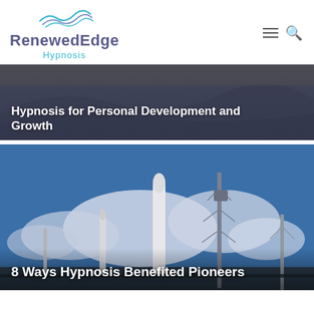RenewedEdge Hypnosis
[Figure (screenshot): Website card with dark blue-grey background showing partially visible text: Hypnosis for Personal Development and Growth]
[Figure (photo): Photo of rocket launch pad with tall white rocket, communication towers, and dramatic cloudy blue sky]
8 Ways Hypnosis Benefited Pioneers